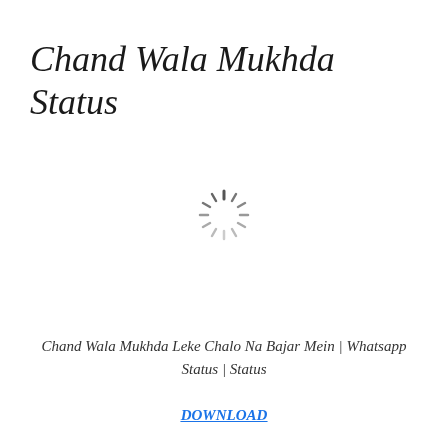Chand Wala Mukhda Status
[Figure (other): A loading spinner icon — circular arrangement of short lines radiating outward in grayscale, resembling a buffering/loading indicator]
Chand Wala Mukhda Leke Chalo Na Bajar Mein | Whatsapp Status | Status
DOWNLOAD